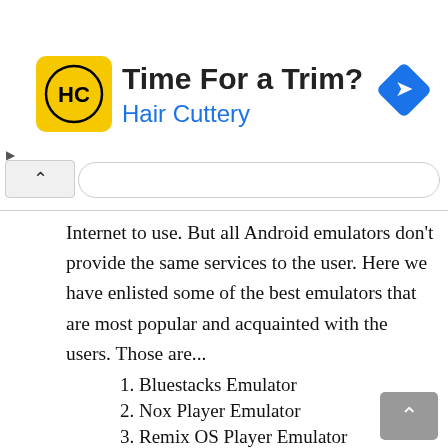[Figure (screenshot): Hair Cuttery advertisement banner with yellow circular logo, title 'Time For a Trim?', subtitle 'Hair Cuttery' in blue, and a blue diamond navigation icon on the right]
Internet to use. But all Android emulators don't provide the same services to the user. Here we have enlisted some of the best emulators that are most popular and acquainted with the users. Those are...
1. Bluestacks Emulator
2. Nox Player Emulator
3. Remix OS Player Emulator
4. MEmu Emulator
5. ARChon Emulator